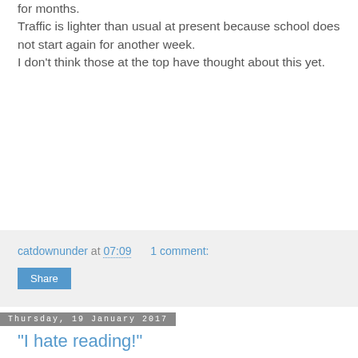for months.
Traffic is lighter than usual at present because school does not start again for another week.
I don't think those at the top have thought about this yet.
catdownunder at 07:09   1 comment:
Share
Thursday, 19 January 2017
"I hate reading!"
Ouch! I was in the local library yesterday - to pick up a book on inter-library-loan. It is a book I need to read.
One of the staff greeted me with a wry smile and jerked her head in the direction of a sulky looking ten or eleven year old boy. He was pulling books off the